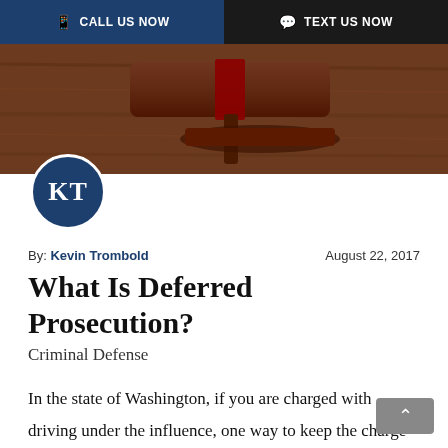CALL US NOW | TEXT US NOW
[Figure (photo): A wooden judge's gavel on a wooden surface, with a KT logo circle overlaid at bottom left]
By: Kevin Trombold  August 22, 2017
What Is Deferred Prosecution?
Criminal Defense
In the state of Washington, if you are charged with driving under the influence, one way to keep the charge off your record may be a “deferred prosecution.”